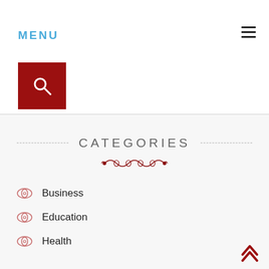MENU
[Figure (other): Red search button with magnifying glass icon]
CATEGORIES
Business
Education
Health